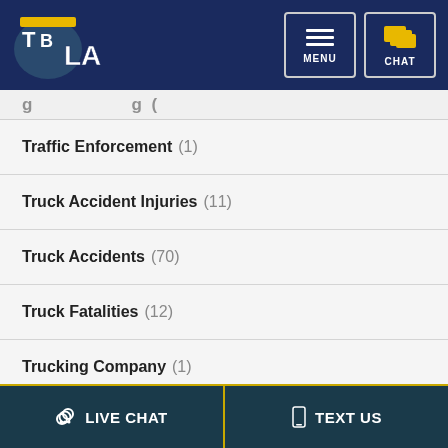[Figure (logo): TBLA law firm logo on dark navy background with menu and chat buttons]
Traffic Enforcement (1)
Truck Accident Injuries (11)
Truck Accidents (70)
Truck Fatalities (12)
Trucking Company (1)
Trucking Industry (13)
Uncategorized (16)
LIVE CHAT   TEXT US